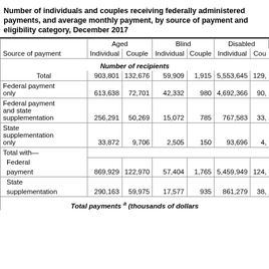Number of individuals and couples receiving federally administered payments, and average monthly payment, by source of payment and eligibility category, December 2017
| Source of payment | Aged Individual | Aged Couple | Blind Individual | Blind Couple | Disabled Individual | Disabled Couple |
| --- | --- | --- | --- | --- | --- | --- |
| Number of recipients |  |  |  |  |  |  |
| Total | 903,801 | 132,676 | 59,909 | 1,915 | 5,553,645 | 129, |
| Federal payment only | 613,638 | 72,701 | 42,332 | 980 | 4,692,366 | 90, |
| Federal payment and state supplementation | 256,291 | 50,269 | 15,072 | 785 | 767,583 | 33, |
| State supplementation only | 33,872 | 9,706 | 2,505 | 150 | 93,696 | 4, |
| Total with— |  |  |  |  |  |  |
| Federal payment | 869,929 | 122,970 | 57,404 | 1,765 | 5,459,949 | 124, |
| State supplementation | 290,163 | 59,975 | 17,577 | 935 | 861,279 | 38, |
| Total payments a (thousands of dollars) |  |  |  |  |  |  |